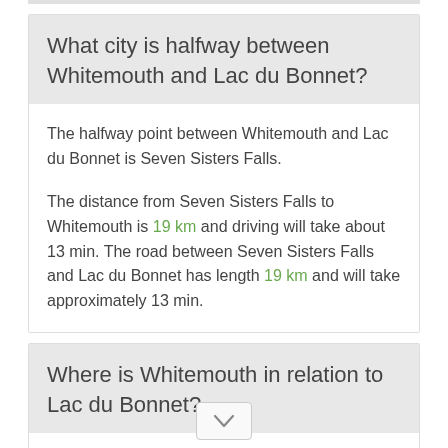What city is halfway between Whitemouth and Lac du Bonnet?
The halfway point between Whitemouth and Lac du Bonnet is Seven Sisters Falls.

The distance from Seven Sisters Falls to Whitemouth is 19 km and driving will take about 13 min. The road between Seven Sisters Falls and Lac du Bonnet has length 19 km and will take approximately 13 min.
Where is Whitemouth in relation to Lac du Bonnet?
Whitemouth is located 34 km south-east of Lac du Bonnet.

Whitemouth has geogra... ...ordinates: latitude...